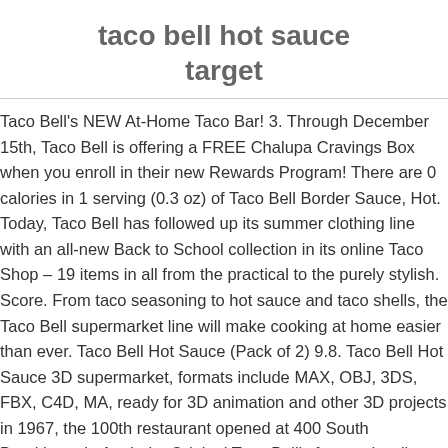taco bell hot sauce target
Taco Bell's NEW At-Home Taco Bar! 3. Through December 15th, Taco Bell is offering a FREE Chalupa Cravings Box when you enroll in their new Rewards Program! There are 0 calories in 1 serving (0.3 oz) of Taco Bell Border Sauce, Hot. Today, Taco Bell has followed up its summer clothing line with an all-new Back to School collection in its online Taco Shop – 19 items in all from the practical to the purely stylish. Score. From taco seasoning to hot sauce and taco shells, the Taco Bell supermarket line will make cooking at home easier than ever. Taco Bell Hot Sauce (Pack of 2) 9.8. Taco Bell Hot Sauce 3D supermarket, formats include MAX, OBJ, 3DS, FBX, C4D, MA, ready for 3D animation and other 3D projects in 1967, the 100th restaurant opened at 400 South Brookhurst in Anaheim.Original Taco Bell's featured walk-up windows only, with no indoor seating or drive-thru service. From Basilo Sauce to Chicken Thighs, bell f...